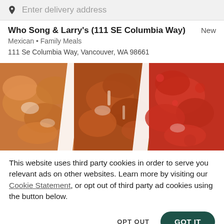Enter delivery address
Who Song & Larry's (111 SE Columbia Way)
Mexican • Family Meals
111 Se Columbia Way, Vancouver, WA 98661
[Figure (photo): Three plates of chicken wings with various sauces including orange-glazed, BBQ, and red-coated varieties, arranged in diagonal strips]
This website uses third party cookies in order to serve you relevant ads on other websites. Learn more by visiting our Cookie Statement, or opt out of third party ad cookies using the button below.
OPT OUT
GOT IT